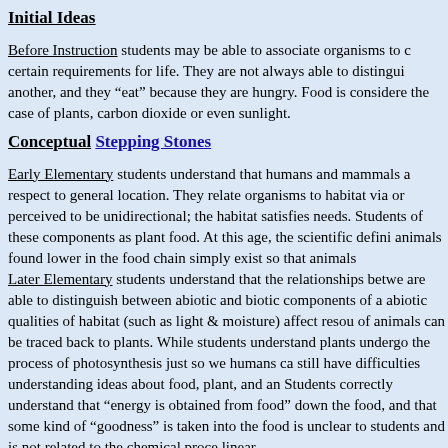Initial Ideas
Before Instruction students may be able to associate organisms to certain requirements for life. They are not always able to distinguish another, and they "eat" because they are hungry. Food is considered the case of plants, carbon dioxide or even sunlight.
Conceptual Stepping Stones
Early Elementary students understand that humans and mammals respect to general location. They relate organisms to habitat via or perceived to be unidirectional; the habitat satisfies needs. Students of these components as plant food. At this age, the scientific defini animals found lower in the food chain simply exist so that animals
Later Elementary students understand that the relationships betwe are able to distinguish between abiotic and biotic components of a abiotic qualities of habitat (such as light & moisture) affect resour of animals can be traced back to plants. While students understand plants undergo the process of photosynthesis just so we humans ca still have difficulties understanding ideas about food, plant, and an Students correctly understand that "energy is obtained from food" down the food, and that some kind of "goodness" is taken into the food is unclear to students and is not related to the chemical proce linear.
Middle School students understand that organisms and population: